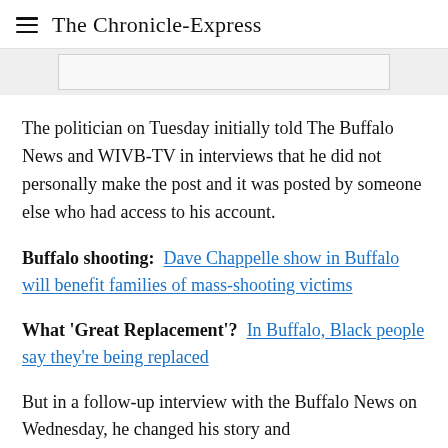The Chronicle-Express
[Figure (other): Advertisement placeholder box (gray rectangle)]
The politician on Tuesday initially told The Buffalo News and WIVB-TV in interviews that he did not personally make the post and it was posted by someone else who had access to his account.
Buffalo shooting: Dave Chappelle show in Buffalo will benefit families of mass-shooting victims
What 'Great Replacement'? In Buffalo, Black people say they're being replaced
But in a follow-up interview with the Buffalo News on Wednesday, he changed his story and